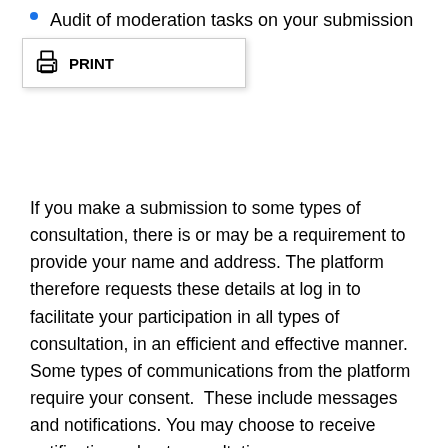Audit of moderation tasks on your submission
[Figure (screenshot): Print dialog overlay showing a printer icon and the text 'PRINT' partially overlapping with 'submission']
If you make a submission to some types of consultation, there is or may be a requirement to provide your name and address. The platform therefore requests these details at log in to facilitate your participation in all types of consultation, in an efficient and effective manner.
Some types of communications from the platform require your consent.  These include messages and notifications. You may choose to receive notifications about consultations;